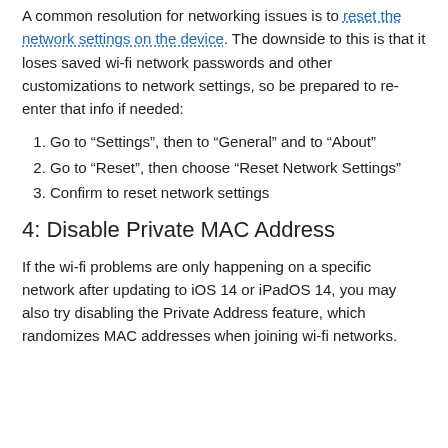A common resolution for networking issues is to reset the network settings on the device. The downside to this is that it loses saved wi-fi network passwords and other customizations to network settings, so be prepared to re-enter that info if needed:
Go to “Settings”, then to “General” and to “About”
Go to “Reset”, then choose “Reset Network Settings”
Confirm to reset network settings
4: Disable Private MAC Address
If the wi-fi problems are only happening on a specific network after updating to iOS 14 or iPadOS 14, you may also try disabling the Private Address feature, which randomizes MAC addresses when joining wi-fi networks.